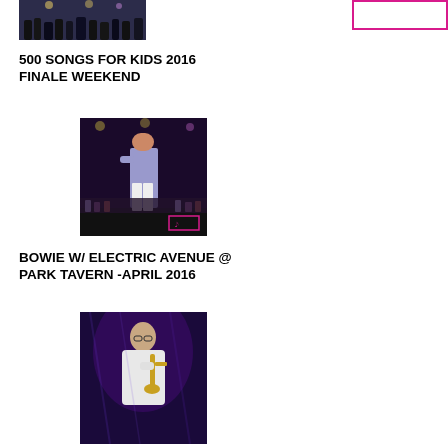[Figure (photo): Concert photo showing performers on stage with crowd in background, dark venue]
[Figure (other): Pink/magenta rectangle outline, decorative element]
500 SONGS FOR KIDS 2016 FINALE WEEKEND
[Figure (photo): Concert photo showing a performer on stage with crowd, colorful lighting, with a small pink logo watermark in corner]
BOWIE W/ ELECTRIC AVENUE @ PARK TAVERN -APRIL 2016
[Figure (photo): Musician playing saxophone on stage with purple lighting, wearing white jacket]